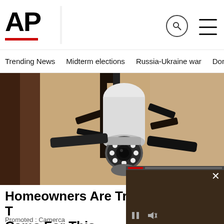AP
Trending News
Midterm elections
Russia-Ukraine war
Dona
[Figure (photo): Close-up photo of a security camera shaped like a light bulb mounted in an outdoor wall lantern fixture against a textured stone/stucco wall]
Homeowners Are Trading In Their Cams For This
Promoted : Camerca
[Figure (screenshot): Video overlay popup showing a woman in a black dress standing in front of a wood-paneled background, with playback controls and a red progress bar at top]
[Figure (photo): Bottom portion of another article image showing bare trees and a rooftop, with a circular accessibility icon overlay]